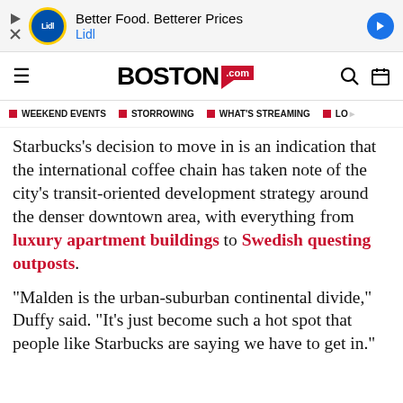[Figure (screenshot): Lidl advertisement banner: Better Food. Betterer Prices / Lidl]
BOSTON.COM navigation bar with hamburger menu, Boston.com logo, search and calendar icons
WEEKEND EVENTS | STORROWING | WHAT'S STREAMING | LO...
Starbucks's decision to move in is an indication that the international coffee chain has taken note of the city's transit-oriented development strategy around the denser downtown area, with everything from luxury apartment buildings to Swedish questing outposts.
“Malden is the urban-suburban continental divide,” Duffy said. “It’s just become such a hot spot that people like Starbucks are saying we have to get in.”